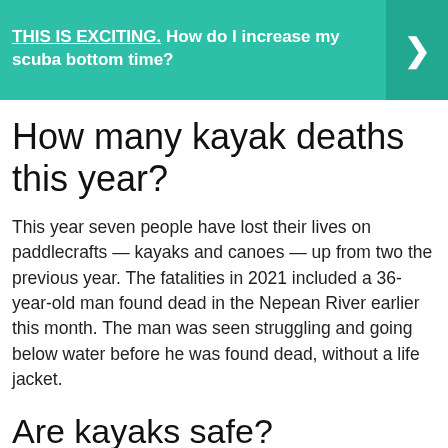[Figure (other): Teal/green banner with bold white text reading 'THIS IS EXCITING. How do I increase my scuba bottom time?' and a right-pointing chevron arrow on the right side]
How many kayak deaths this year?
This year seven people have lost their lives on paddlecrafts — kayaks and canoes — up from two the previous year. The fatalities in 2021 included a 36-year-old man found dead in the Nepean River earlier this month. The man was seen struggling and going below water before he was found dead, without a life jacket.
Are kayaks safe?